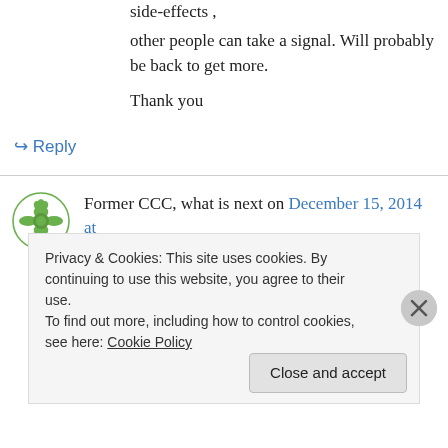side-effects ,
other people can take a signal. Will probably be back to get more.
Thank you
↪ Reply
Former CCC, what is next on December 15, 2014 at 6:53 am
It is so ironic that we were told in these churches not to have a fear of man, but that is exactly
Privacy & Cookies: This site uses cookies. By continuing to use this website, you agree to their use.
To find out more, including how to control cookies, see here: Cookie Policy